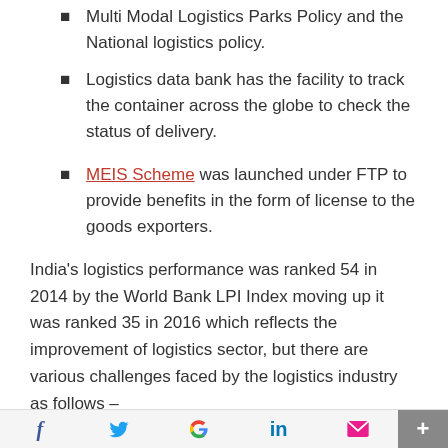Multi Modal Logistics Parks Policy and the National logistics policy.
Logistics data bank has the facility to track the container across the globe to check the status of delivery.
MEIS Scheme was launched under FTP to provide benefits in the form of license to the goods exporters.
India's logistics performance was ranked 54 in 2014 by the World Bank LPI Index moving up it was ranked 35 in 2016 which reflects the improvement of logistics sector, but there are various challenges faced by the logistics industry as follows –
Infrastructure
Fuel Cost in transportation
Manpower Management in Logistics
f  Twitter  G  in  email  +